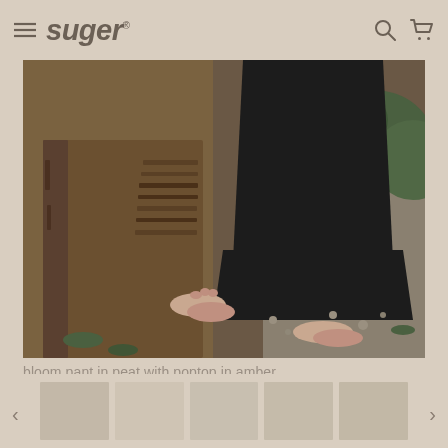suger
[Figure (photo): Person wearing black wide-leg pants (bloom pant in peat) seated on a large weathered tree stump in an outdoor forest/gravel setting, barefoot, with green foliage visible in background]
bloom pant in peat with poptop in amber
[Figure (photo): Thumbnail strip of product photos at the bottom of the page with left and right navigation arrows]